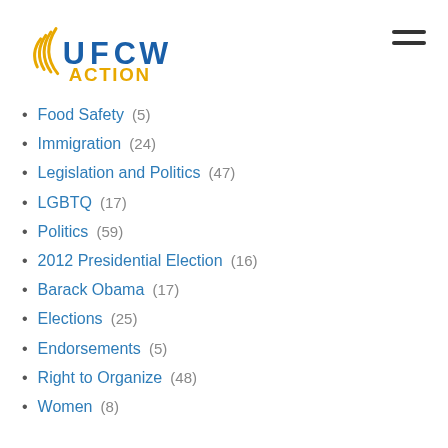[Figure (logo): UFCW Action logo with radio wave icon, blue UFCW text, yellow ACTION text]
Food Safety (5)
Immigration (24)
Legislation and Politics (47)
LGBTQ (17)
Politics (59)
2012 Presidential Election (16)
Barack Obama (17)
Elections (25)
Endorsements (5)
Right to Organize (48)
Women (8)